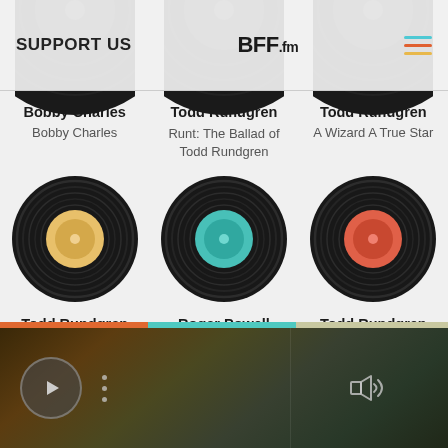SUPPORT US | BFF.fm
[Figure (illustration): Three vinyl record icons partially visible at top of page (cropped), showing dark circular records]
Bobby Charles
Bobby Charles
Todd Rundgren
Runt: The Ballad of Todd Rundgren
Todd Rundgren
A Wizard A True Star
[Figure (illustration): Vinyl record with yellow/cream colored center label]
[Figure (illustration): Vinyl record with teal/cyan colored center label]
[Figure (illustration): Vinyl record with red/coral colored center label]
Todd Rundgren
Roger Powell
Todd Rundgren
[Figure (screenshot): Music player bar at bottom with play button, three-dot menu, and volume icon on dark blurred background]